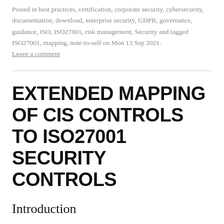Posted in best practices, certification, corporate security, cybersecurity, documentation, download, enterprise security, GDPR, governance, guidance, ISO, ISO27001, risk management, Security and tagged ISO27001, mapping, note-to-self on Mon 13 Sep 2021. Leave a comment
EXTENDED MAPPING OF CIS CONTROLS TO ISO27001 SECURITY CONTROLS
Introduction